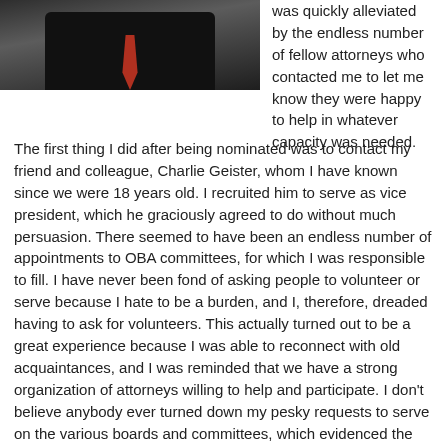[Figure (photo): Portrait photo of a man in a dark suit with red tie, cropped to upper body]
was quickly alleviated by the endless number of fellow attorneys who contacted me to let me know they were happy to help in whatever capacity was needed.
The first thing I did after being nominated was to contact my friend and colleague, Charlie Geister, whom I have known since we were 18 years old. I recruited him to serve as vice president, which he graciously agreed to do without much persuasion. There seemed to have been an endless number of appointments to OBA committees, for which I was responsible to fill. I have never been fond of asking people to volunteer or serve because I hate to be a burden, and I, therefore, dreaded having to ask for volunteers. This actually turned out to be a great experience because I was able to reconnect with old acquaintances, and I was reminded that we have a strong organization of attorneys willing to help and participate. I don't believe anybody ever turned down my pesky requests to serve on the various boards and committees, which evidenced the depth of our organization and caused me to appreciate what a great group of attorneys we have in the state of Oklahoma. There were some members who not only agreed to serve but told me they were honored to have been asked.